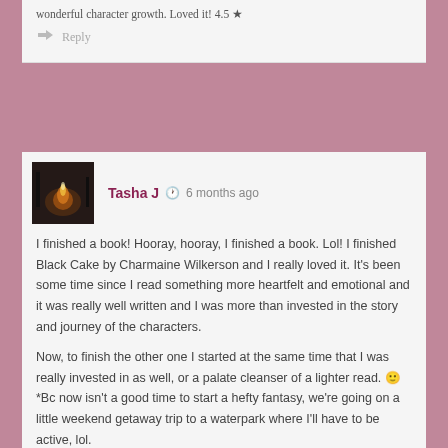wonderful character growth. Loved it! 4.5 ★
Reply
[Figure (photo): Avatar photo showing a dark nighttime outdoor scene with fire/light]
Tasha J  🕐  6 months ago
I finished a book! Hooray, hooray, I finished a book. Lol! I finished Black Cake by Charmaine Wilkerson and I really loved it. It's been some time since I read something more heartfelt and emotional and it was really well written and I was more than invested in the story and journey of the characters.

Now, to finish the other one I started at the same time that I was really invested in as well, or a palate cleanser of a lighter read. 🙂
*Bc now isn't a good time to start a hefty fantasy, we're going on a little weekend getaway trip to a waterpark where I'll have to be active, lol.